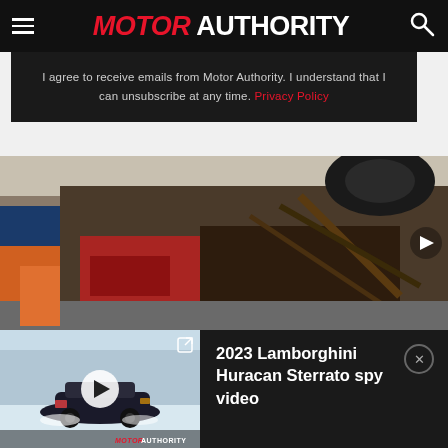MOTOR AUTHORITY
I agree to receive emails from Motor Authority. I understand that I can unsubscribe at any time. Privacy Policy
[Figure (photo): Crash scene photo showing a wrecked car with burnt and destroyed bodywork, a person in orange/blue jacket examining the wreckage]
[Figure (screenshot): Video player thumbnail showing a dark sports car driving on a snowy road in winter conditions, with Motor Authority watermark, play button overlay, and expand icon]
2023 Lamborghini Huracan Sterrato spy video